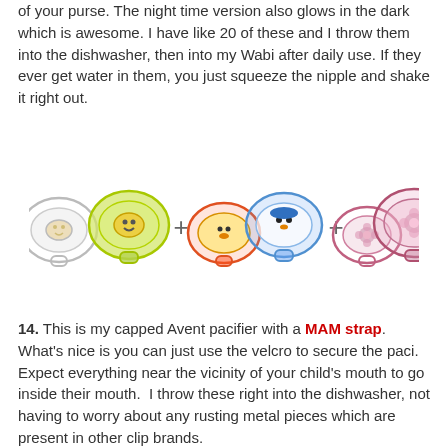of your purse. The night time version also glows in the dark which is awesome. I have like 20 of these and I throw them into the dishwasher, then into my Wabi after daily use. If they ever get water in them, you just squeeze the nipple and shake it right out.
[Figure (photo): Six pacifiers arranged in three pairs separated by plus signs. Left pair: one clear/white pacifier and one yellow-green pacifier with yellow smiley face. Middle pair: one orange/red pacifier with duck face and one blue pacifier with penguin face. Right pair: two pink pacifiers with floral designs.]
14. This is my capped Avent pacifier with a MAM strap. What's nice is you can just use the velcro to secure the paci. Expect everything near the vicinity of your child's mouth to go inside their mouth. I throw these right into the dishwasher, not having to worry about any rusting metal pieces which are present in other clip brands.